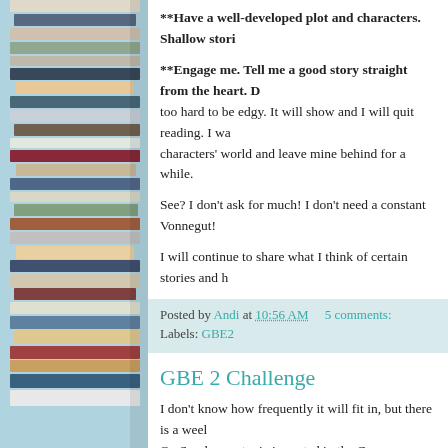[Figure (illustration): Stack of books viewed from the side, showing many colorful book spines, forming a decorative sidebar image.]
**Have a well-developed plot and characters. Shallow stori
**Engage me. Tell me a good story straight from the heart. D too hard to be edgy. It will show and I will quit reading. I wa characters' world and leave mine behind for a while.
See? I don't ask for much! I don't need a constant Vonnegut!
I will continue to share what I think of certain stories and h
Posted by Andi at 10:56 AM    5 comments:
Labels: GBE2
GBE 2 Challenge
I don't know how frequently it will fit in, but there is a weel On Sundays, a topic is posted in the Group Blogging Experie supposed to blog on that topic, if we can find a way to make fit the first topic in all of my blogs, and yes, I am behind by a ...